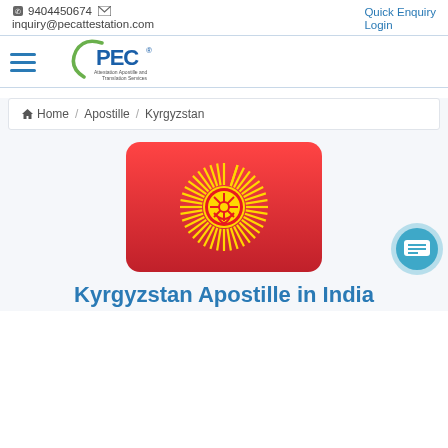9404450674  inquiry@pecattestation.com  Quick Enquiry  Login
[Figure (logo): PEC logo - Attestation Apostille and Translation Services]
Home / Apostille / Kyrgyzstan
[Figure (illustration): Kyrgyzstan flag - red background with yellow sun emblem, rounded rectangle shape]
Kyrgyzstan Apostille in India